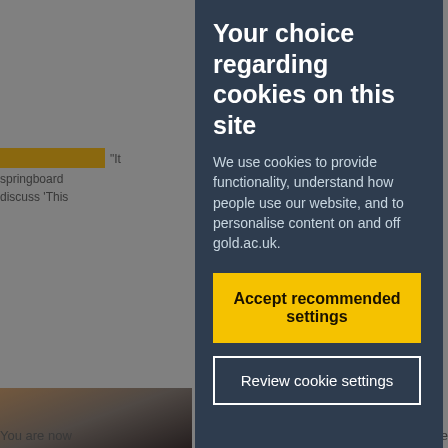[Figure (screenshot): Background website content partially visible behind cookie consent modal. Shows a yellow highlight bar, partial article text snippets, a photo of a woman, partial blue heading text 'Anim-', partial body text mentioning 'itivities', 'bbean', 'oora,', 'd Black', and bottom text 'You are now' and 'n alternative'.]
Your choice regarding cookies on this site
We use cookies to provide functionality, understand how people use our website, and to personalise content on and off gold.ac.uk.
Accept recommended settings
Review cookie settings